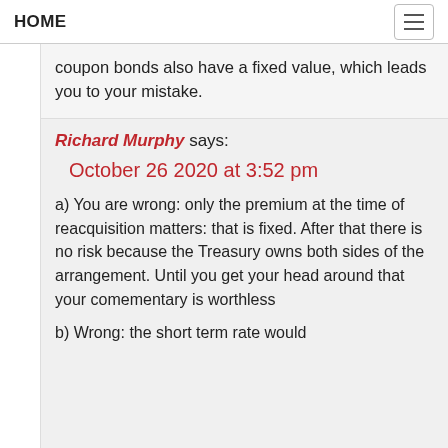HOME
coupon bonds also have a fixed value, which leads you to your mistake.
Richard Murphy says:
October 26 2020 at 3:52 pm
a) You are wrong: only the premium at the time of reacquisition matters: that is fixed. After that there is no risk because the Treasury owns both sides of the arrangement. Until you get your head around that your comementary is worthless
b) Wrong: the short term rate would